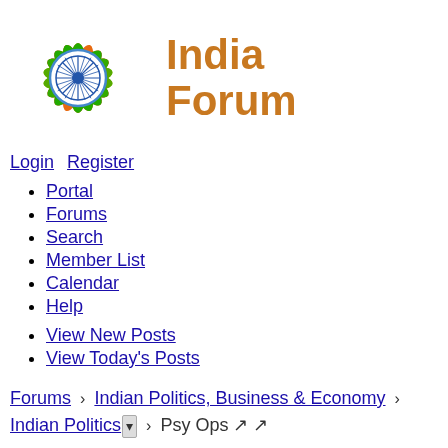[Figure (logo): India Forum logo: colorful sunflower with orange/green/red petals and blue Ashoka Chakra center, with 'India Forum' text in orange-brown to the right]
Login Register
Portal
Forums
Search
Member List
Calendar
Help
View New Posts
View Today's Posts
Forums › Indian Politics, Business & Economy › Indian Politics ▾ › Psy Ops ↗ ↗